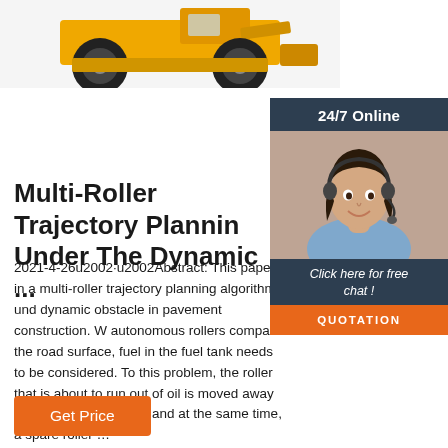[Figure (photo): Partial view of yellow heavy construction machinery (road roller/wheel loader) from above, cropped at top]
[Figure (photo): 24/7 Online chat support sidebar with woman wearing headset, dark blue background, orange QUOTATION button]
Multi-Roller Trajectory Planniﾗ Under The Dynamic ...
2021-4-26u2002·u2002Abstract: This paper in a multi-roller trajectory planning algorithm und dynamic obstacle in pavement construction. W autonomous rollers compact the road surface, fuel in the fuel tank needs to be considered. To this problem, the roller that is about to run out of oil is moved away from the working area, and at the same time, a spare roller …
Get Price